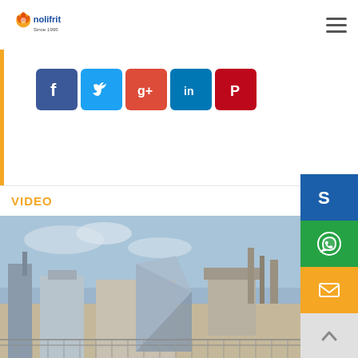[Figure (logo): Nolifrit logo with sun/flame icon and text 'nolifrit Since 1995']
[Figure (infographic): Social media sharing icons: Facebook (blue), Twitter (light blue), Google+ (red), LinkedIn (blue), Pinterest (red)]
VIDEO
[Figure (photo): Industrial facility with large metal structures, silos, pipes and equipment against a blue sky]
[Figure (infographic): Side contact buttons: Skype (dark blue), WhatsApp (green), Email (orange/yellow), Scroll-to-top (light gray with up arrow)]